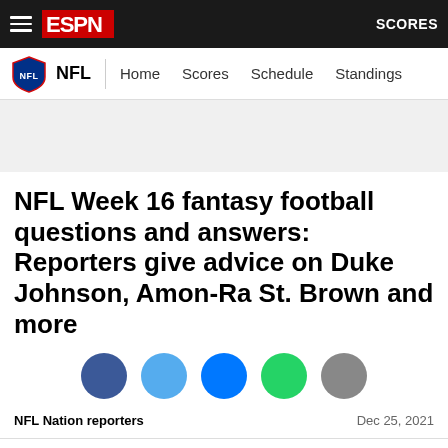ESPN — NFL — Home  Scores  Schedule  Standings  SCORES
[Figure (other): ESPN website screenshot showing NFL navigation bar with NFL shield logo, Home, Scores, Schedule, Standings links]
NFL Week 16 fantasy football questions and answers: Reporters give advice on Duke Johnson, Amon-Ra St. Brown and more
[Figure (infographic): Social share buttons: Facebook (dark blue circle), Twitter (light blue circle), Messenger (dark blue circle), WhatsApp (green circle), More (gray circle)]
NFL Nation reporters   Dec 25, 2021
The fantasy football playoffs and COVID-19 don't make for